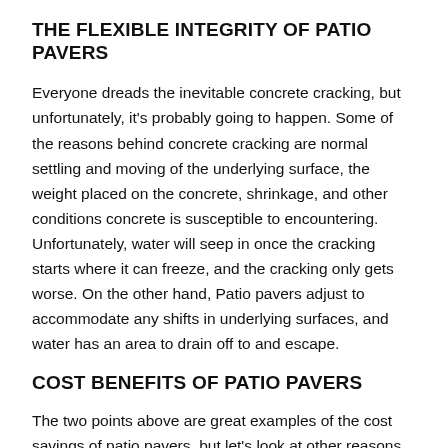THE FLEXIBLE INTEGRITY OF PATIO PAVERS
Everyone dreads the inevitable concrete cracking, but unfortunately, it's probably going to happen. Some of the reasons behind concrete cracking are normal settling and moving of the underlying surface, the weight placed on the concrete, shrinkage, and other conditions concrete is susceptible to encountering. Unfortunately, water will seep in once the cracking starts where it can freeze, and the cracking only gets worse. On the other hand, Patio pavers adjust to accommodate any shifts in underlying surfaces, and water has an area to drain off to and escape.
COST BENEFITS OF PATIO PAVERS
The two points above are great examples of the cost savings of patio pavers, but let's look at other reasons